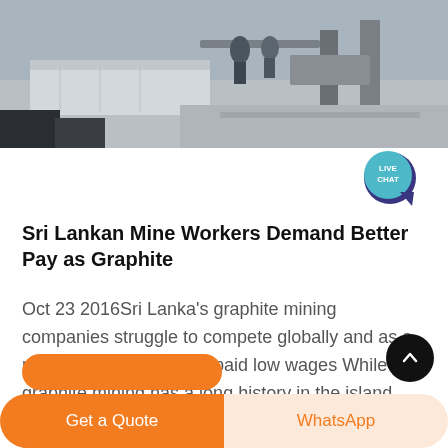[Figure (photo): A mining facility scene showing machinery, stone slabs, and equipment in an outdoor setting.]
Sri Lankan Mine Workers Demand Better Pay as Graphite
Oct 23 2016Sri Lanka's graphite mining companies struggle to compete globally and as a result mine workers are paid low wages While graphite mining has a long history in the island nation some believe that investment in new machinery is needed to give the industry a boost